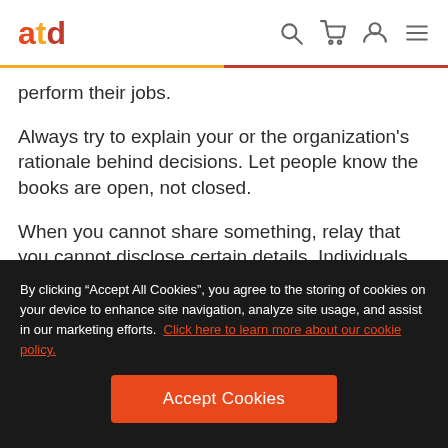atd
perform their jobs.
Always try to explain your or the organization's rationale behind decisions. Let people know the books are open, not closed.
When you cannot share something, relay that you cannot disclose certain details. Individuals will
By clicking “Accept All Cookies”, you agree to the storing of cookies on your device to enhance site navigation, analyze site usage, and assist in our marketing efforts. Click here to learn more about our cookie policy.
Accept Cookies